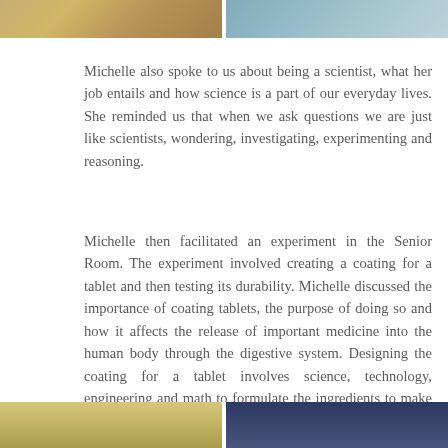[Figure (photo): Top partial photos: left shows classroom scene, right shows another classroom scene]
Michelle also spoke to us about being a scientist, what her job entails and how science is a part of our everyday lives. She reminded us that when we ask questions we are just like scientists, wondering, investigating, experimenting and reasoning.
Michelle then facilitated an experiment in the Senior Room. The experiment involved creating a coating for a tablet and then testing its durability. Michelle discussed the importance of coating tablets, the purpose of doing so and how it affects the release of important medicine into the human body through the digestive system. Designing the coating for a tablet involves science, technology, engineering and math to formulate the ingredients to make the coating, design it, test it and then produce it in bulk amounts.
[Figure (photo): Bottom partial photos: left shows a bright classroom scene, right shows another classroom scene with darker background]